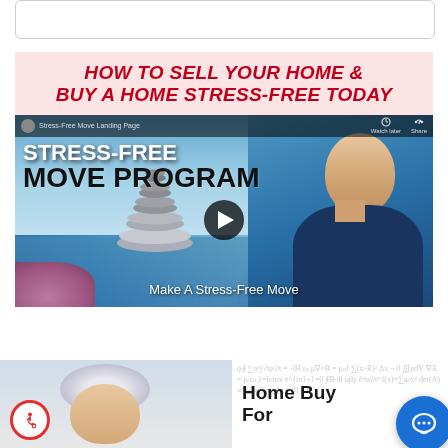[Figure (screenshot): White rounded rectangle box at top of page]
[Figure (screenshot): Banner image with pink header reading 'HOW TO SELL YOUR HOME & BUY A HOME STRESS-FREE TODAY' and embedded YouTube video thumbnail showing 'STRESS-FREE MOVE PROGRAM' with man in navy shirt, stacked stones, play button, and caption 'Make A Stress-Free Move']
[Figure (screenshot): Bottom section with elderly person photo on left with accessibility icon, and 'Home Buy For' text on right with math background and chat bubble icon]